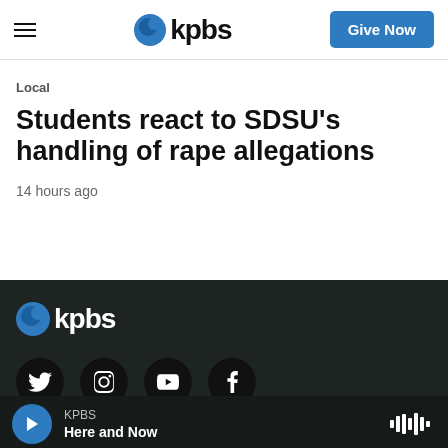kpbs | Give Now
Local
Students react to SDSU's handling of rape allegations
14 hours ago
[Figure (logo): KPBS logo in white on dark background in footer]
[Figure (infographic): Social media icons: Twitter, Instagram, YouTube, Facebook on dark circular backgrounds]
KPBS Here and Now